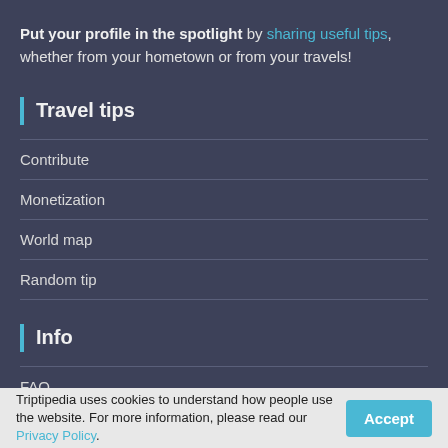Put your profile in the spotlight by sharing useful tips, whether from your hometown or from your travels!
Travel tips
Contribute
Monetization
World map
Random tip
Info
FAQ
Affiliate
Listing tours
Listing accommodations
Triptipedia uses cookies to understand how people use the website. For more information, please read our Privacy Policy.